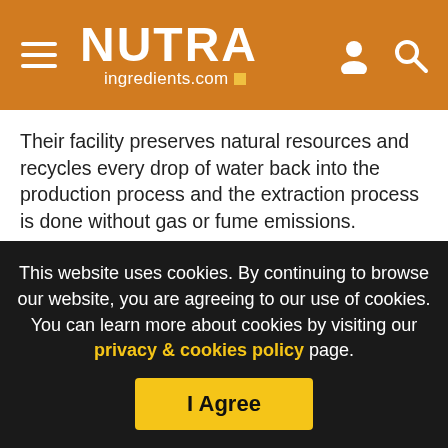NUTRAingredients.com
Their facility preserves natural resources and recycles every drop of water back into the production process and the extraction process is done without gas or fume emissions.
“Microalgae are sunlight-driven, single-celled factories, and by nature highly resilient and versatile,” explains Bar-Gil.
“They also are a powerful source of natural, vegan, bioactive ingredients. Our innovative approach serves to create pure,
This website uses cookies. By continuing to browse our website, you are agreeing to our use of cookies. You can learn more about cookies by visiting our privacy & cookies policy page.